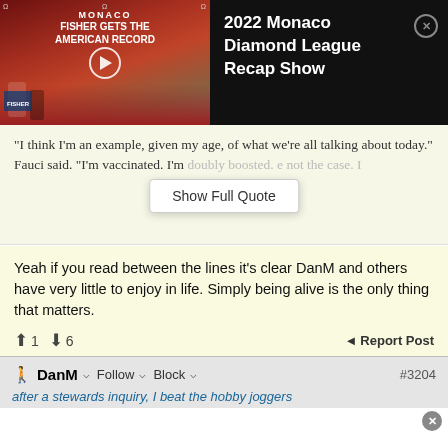[Figure (screenshot): Video thumbnail for 2022 Monaco Diamond League Recap Show showing runners on a track, with text overlay 'MONACO FISHER GETS THE AMERICAN RECORD'. Play button visible in center.]
2022 Monaco Diamond League Recap Show
"I think I'm an example, given my age, of what we're all talking about today." Fauci said. "I'm vaccinated. I'm doubly boosted. [Show Full Quote] e not the case. I
Yeah if you read between the lines it's clear DanM and others have very little to enjoy in life. Simply being alive is the only thing that matters.
↑ 1  ↓ 6   ◄ Report Post
DanM  Follow  Block  #3204
after a stewards inquiry, I beat the hobby joggers